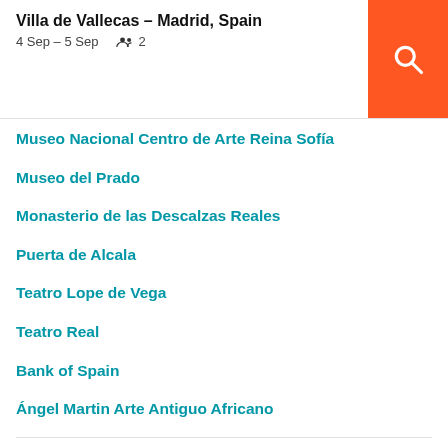Villa de Vallecas – Madrid, Spain
4 Sep – 5 Sep  2
Museo Nacional Centro de Arte Reina Sofía
Museo del Prado
Monasterio de las Descalzas Reales
Puerta de Alcala
Teatro Lope de Vega
Teatro Real
Bank of Spain
Ángel Martin Arte Antiguo Africano
Teatro Monumental
Museo Thyssen-Bornemisza
Templo de Debod
Palacio de Comunicaciones
Plaza de Cuzco
El Rastro
Teatro Español